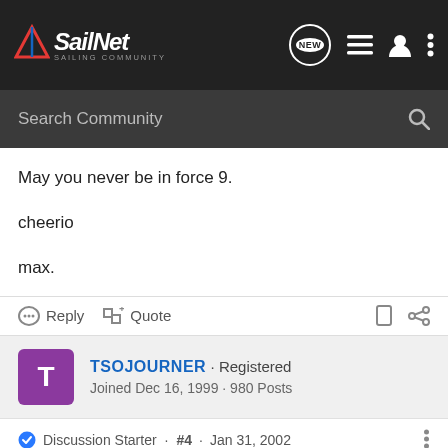[Figure (logo): SailNet Sailing Community logo with navigation icons]
Search Community
May you never be in force 9.

cheerio

max.
Reply   Quote
TSOJOURNER · Registered
Joined Dec 16, 1999 · 980 Posts
Discussion Starter · #4 · Jan 31, 2002
From the Mariner"s Book of Days:
Less than 1 kt - smoke rises vertically